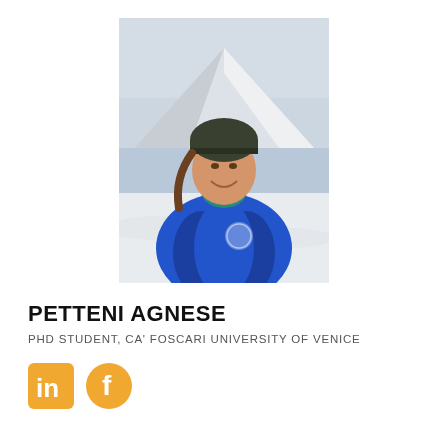[Figure (photo): Portrait photo of Petteni Agnese outdoors in a snowy mountain landscape, wearing a blue jacket and dark beanie hat, smiling.]
PETTENI AGNESE
PHD STUDENT, CA' FOSCARI UNIVERSITY OF VENICE
[Figure (logo): LinkedIn and Facebook social media icons in orange/gold color]